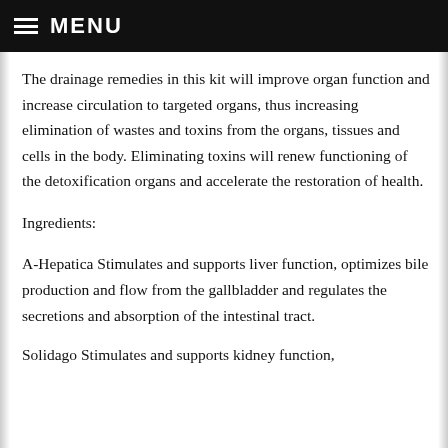MENU
The drainage remedies in this kit will improve organ function and increase circulation to targeted organs, thus increasing elimination of wastes and toxins from the organs, tissues and cells in the body. Eliminating toxins will renew functioning of the detoxification organs and accelerate the restoration of health.
Ingredients:
A-Hepatica Stimulates and supports liver function, optimizes bile production and flow from the gallbladder and regulates the secretions and absorption of the intestinal tract.
Solidago Stimulates and supports kidney function,